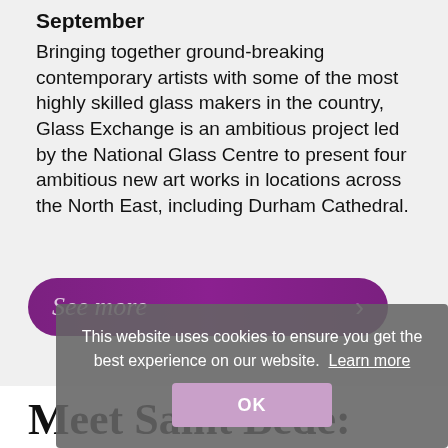September
Bringing together ground-breaking contemporary artists with some of the most highly skilled glass makers in the country, Glass Exchange is an ambitious project led by the National Glass Centre to present four ambitious new art works in locations across the North East, including Durham Cathedral.
See more ›
This website uses cookies to ensure you get the best experience on our website. Learn more
OK
Meet Saint Bede: